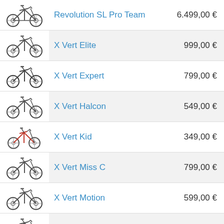| Image | Product | Price |
| --- | --- | --- |
| [bike image] | Revolution SL Pro Team | 6.499,00 € |
| [bike image] | X Vert Elite | 999,00 € |
| [bike image] | X Vert Expert | 799,00 € |
| [bike image] | X Vert Halcon | 549,00 € |
| [bike image] | X Vert Kid | 349,00 € |
| [bike image] | X Vert Miss C | 799,00 € |
| [bike image] | X Vert Motion | 599,00 € |
| [bike image] | X Vert Race | 1.199,00 € |
| [bike image] | X Vert Rock | 499,00 € |
| [bike image] |  |  |